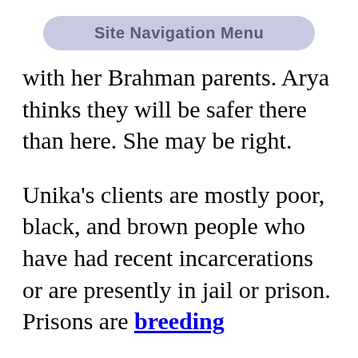[Figure (screenshot): Site Navigation Menu button — a rounded pill-shaped button with light purple/lavender background and gray text reading 'Site Navigation Menu']
with her Brahman parents. Arya thinks they will be safer there than here. She may be right.
Unika's clients are mostly poor, black, and brown people who have had recent incarcerations or are presently in jail or prison. Prisons are breeding